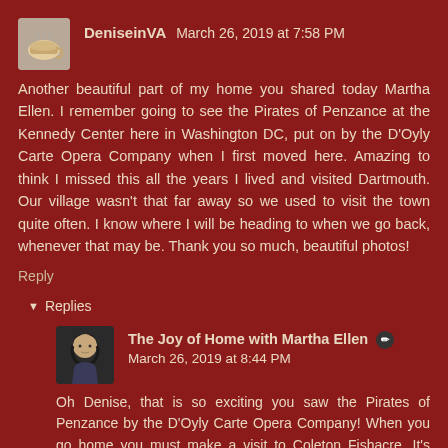DeniseinVA  March 26, 2019 at 7:58 PM
Another beautiful part of my home you shared today Martha Ellen. I remember going to see the Pirates of Penzance at the Kennedy Center here in Washington DC, put on by the D'Oyly Carte Opera Company when I first moved here. Amazing to think I missed this all the years I lived and visited Dartmouth. Our village wasn't that far away so we used to visit the town quite often. I know where I will be heading to when we go back, whenever that may be. Thank you so much, beautiful photos!
Reply
Replies
The Joy of Home with Martha Ellen  March 26, 2019 at 8:44 PM
Oh Denise, that is so exciting you saw the Pirates of Penzance by the D'Oyly Carte Opera Company! When you go home you must make a visit to Coleton Fishacre. It's quite lovely. Thank